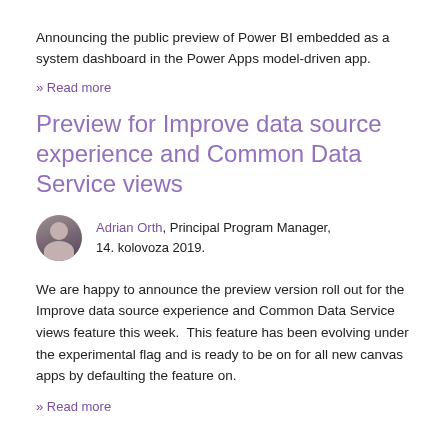Announcing the public preview of Power BI embedded as a system dashboard in the Power Apps model-driven app.
» Read more
Preview for Improve data source experience and Common Data Service views
Adrian Orth, Principal Program Manager, 14. kolovoza 2019.
We are happy to announce the preview version roll out for the Improve data source experience and Common Data Service views feature this week.  This feature has been evolving under the experimental flag and is ready to be on for all new canvas apps by defaulting the feature on.
» Read more